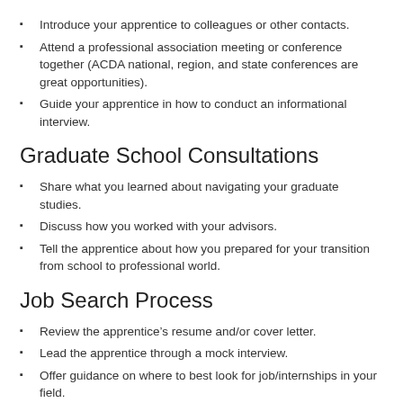Introduce your apprentice to colleagues or other contacts.
Attend a professional association meeting or conference together (ACDA national, region, and state conferences are great opportunities).
Guide your apprentice in how to conduct an informational interview.
Graduate School Consultations
Share what you learned about navigating your graduate studies.
Discuss how you worked with your advisors.
Tell the apprentice about how you prepared for your transition from school to professional world.
Job Search Process
Review the apprentice’s resume and/or cover letter.
Lead the apprentice through a mock interview.
Offer guidance on where to best look for job/internships in your field.